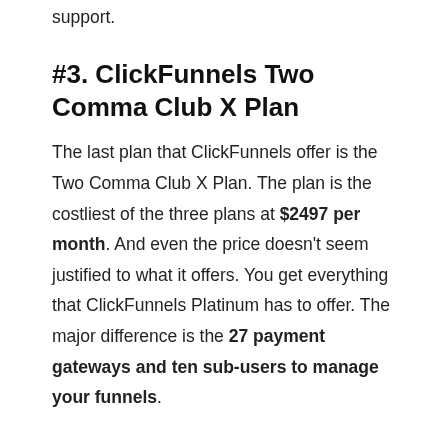support.
#3. ClickFunnels Two Comma Club X Plan
The last plan that ClickFunnels offer is the Two Comma Club X Plan. The plan is the costliest of the three plans at $2497 per month. And even the price doesn’t seem justified to what it offers. You get everything that ClickFunnels Platinum has to offer. The major difference is the 27 payment gateways and ten sub-users to manage your funnels.